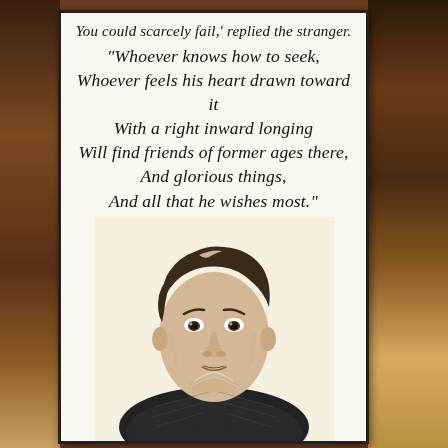You could scarcely fail,' replied the stranger. "Whoever knows how to seek, Whoever feels his heart drawn toward it With a right inward longing Will find friends of former ages there, And glorious things, And all that he wishes most."
[Figure (illustration): Black and white engraved portrait of a man from the early 19th century, wearing a high collar and cravat, with tousled hair, depicted from the chest up]